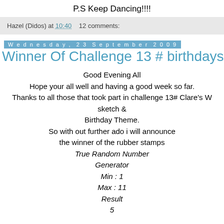P.S Keep Dancing!!!!
Hazel (Didos) at 10:40    12 comments:
Wednesday, 23 September 2009
Winner Of Challenge 13 # birthdays
Good Evening All
Hope your all well and having a good week so far.
Thanks to all those that took part in challenge 13# Clare's W sketch &
Birthday Theme.
So with out further ado i will announce
the winner of the rubber stamps
True Random Number
Generator
Min : 1
Max : 11
Result
5